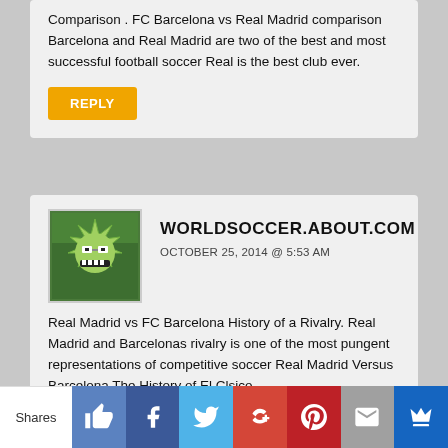Comparison . FC Barcelona vs Real Madrid comparison Barcelona and Real Madrid are two of the best and most successful football soccer Real is the best club ever.
REPLY
WORLDSOCCER.ABOUT.COM
OCTOBER 25, 2014 @ 5:53 AM
[Figure (illustration): Green monster/alien avatar icon for worldsoccer.about.com user]
Real Madrid vs FC Barcelona History of a Rivalry. Real Madrid and Barcelonas rivalry is one of the most pungent representations of competitive soccer Real Madrid Versus Barcelona The History of El Clsico.
[Figure (infographic): Social sharing bar with like, Facebook, Twitter, Google+, Pinterest, mail, and crown icons. Labels: Shares]